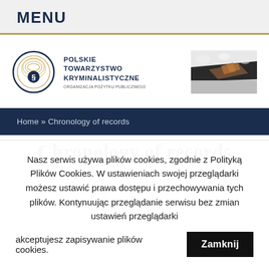MENU
[Figure (logo): Polskie Towarzystwo Kryminalistyczne logo with fingerprint emblem and organization seal, alongside a forensic mineral/drug evidence photo]
Home » Chronology of records
Chronology of records
Nasz serwis używa plików cookies, zgodnie z Polityką Plików Cookies. W ustawieniach swojej przeglądarki możesz ustawić prawa dostępu i przechowywania tych plików. Kontynuując przeglądanie serwisu bez zmian ustawień przeglądarki akceptujesz zapisywanie plików cookies.
Zamknij